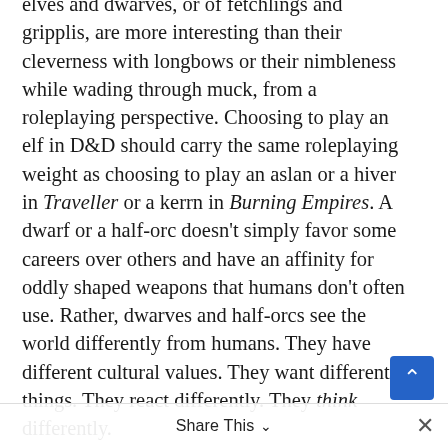elves and dwarves, or of fetchlings and gripplis, are more interesting than their cleverness with longbows or their nimbleness while wading through muck, from a roleplaying perspective. Choosing to play an elf in D&D should carry the same roleplaying weight as choosing to play an aslan or a hiver in Traveller or a kerrn in Burning Empires. A dwarf or a half-orc doesn't simply favor some careers over others and have an affinity for oddly shaped weapons that humans don't often use. Rather, dwarves and half-orcs see the world differently from humans. They have different cultural values. They want different things. They react differently. They think differently.
This doesn't need to be baked into a set of rules. Any GM can lay down cultural and racial parameters for his or her campaign world. If the GM doesn't do it, players can create their own. The goal is to treat race less as a secondary character trait and more as a foreground element that is defined by, and in turn further defines, the setting.
Share This